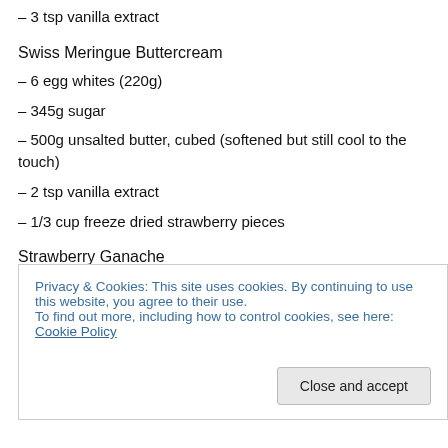– 3 tsp vanilla extract
Swiss Meringue Buttercream
– 6 egg whites (220g)
– 345g sugar
– 500g unsalted butter, cubed (softened but still cool to the touch)
– 2 tsp vanilla extract
– 1/3 cup freeze dried strawberry pieces
Strawberry Ganache
– 180g white couverture chocolate
Privacy & Cookies: This site uses cookies. By continuing to use this website, you agree to their use.
To find out more, including how to control cookies, see here: Cookie Policy